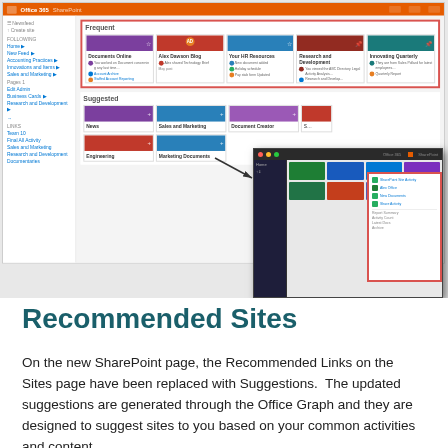[Figure (screenshot): Screenshot of SharePoint Sites page showing 'Frequent' section (highlighted with red border) with site cards including Documents Online, Alex Dawson Blog, Your HR Resources, Research and Development, Innovating Quarterly, and a 'Suggested' section below with News, Sales and Marketing, Document Creator, Engineering, Marketing Documents cards. An overlaid second screenshot shows Office 365 SharePoint start page with app tiles and a red-bordered panel showing recent activity links.]
Recommended Sites
On the new SharePoint page, the Recommended Links on the Sites page have been replaced with Suggestions.  The updated suggestions are generated through the Office Graph and they are designed to suggest sites to you based on your common activities and content